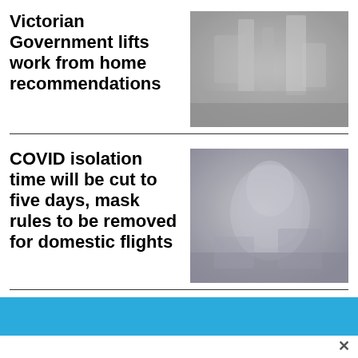Victorian Government lifts work from home recommendations
[Figure (photo): Blurred black and white/grayscale photo, appears to show an interior office or corridor scene]
COVID isolation time will be cut to five days, mask rules to be removed for domestic flights
[Figure (photo): Blurred grayscale photo, appears to show a person in a mask or medical/travel setting]